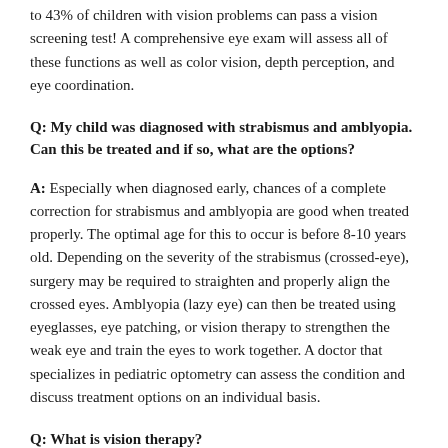to 43% of children with vision problems can pass a vision screening test! A comprehensive eye exam will assess all of these functions as well as color vision, depth perception, and eye coordination.
Q: My child was diagnosed with strabismus and amblyopia. Can this be treated and if so, what are the options?
A: Especially when diagnosed early, chances of a complete correction for strabismus and amblyopia are good when treated properly. The optimal age for this to occur is before 8-10 years old. Depending on the severity of the strabismus (crossed-eye), surgery may be required to straighten and properly align the crossed eyes. Amblyopia (lazy eye) can then be treated using eyeglasses, eye patching, or vision therapy to strengthen the weak eye and train the eyes to work together. A doctor that specializes in pediatric optometry can assess the condition and discuss treatment options on an individual basis.
Q: What is vision therapy?
A: Vision therapy is a doctor-supervised, individualized program of exercises to strengthen the functions of the eye. It is used to correct issues with eye alignment, focusing, coordination, tracking and more